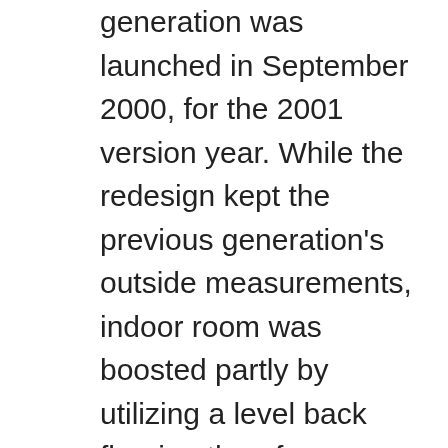generation was launched in September 2000, for the 2001 version year. While the redesign kept the previous generation's outside measurements, indoor room was boosted partly by utilizing a level back flooring therefore bumping up Civic to a small auto dimension section. 10.02.2020 · These are some common tools used to work on this device. You might not need every tool for every procedure. The 1995-2001 Honda CRVs are the first generation of Honda's in-house designed SUV. The US didn't see the CRV until the Chicago car show in 1996 and wasn't selling the CRV ...
12.10.2019 · Download 2001 Honda